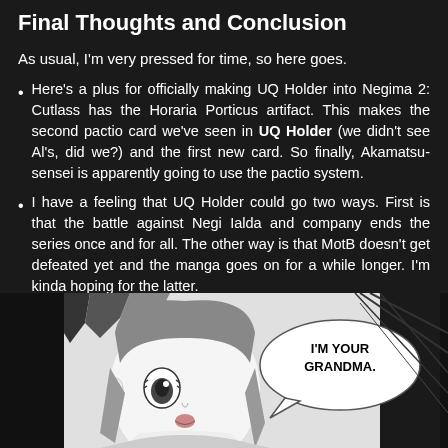Final Thoughts and Conclusion
As usual, I'm very pressed for time, so here goes.
Here's a plus for officially making UQ Holder into Negima 2: Cutlass has the Horaria Porticus artifact. This makes the second pactio card we've seen in UQ Holder (we didn't see Al's, did we?) and the first new card. So finally, Akamatsu-sensei is apparently going to use the pactio system.
I have a feeling that UQ Holder could go two ways. First is that the battle against Negi Ialda and company ends the series once and for all. The other way is that MotB doesn't get defeated yet and the manga goes on for a while longer. I'm kinda hoping for the latter.
Eva's tsundere reaction to Asuna keeps cracking me up. 😀
[Figure (illustration): Manga panel showing an anime-style character with speech bubble saying 'I'M YOUR GRANDMA.']